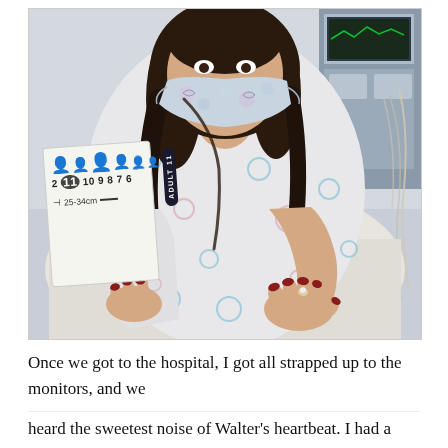[Figure (photo): A woman sitting in a hospital bed wearing a floral fabric face mask and a hospital gown with a decorative pattern. She has dark hair, red painted nails, and wears a diamond ring. She is holding a medical blood pressure cuff packaging labeled 'ADULT 11' with size range 25-34cm and numbers 2, 11, 10, 9, 8, 7, 6. Hospital monitoring equipment is visible in the background.]
Once we got to the hospital, I got all strapped up to the monitors, and we heard the sweetest noise of Walter's heartbeat. I had a very